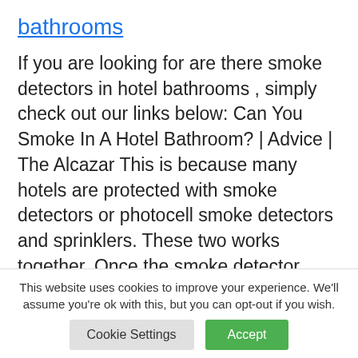bathrooms
If you are looking for are there smoke detectors in hotel bathrooms , simply check out our links below: Can You Smoke In A Hotel Bathroom? | Advice | The Alcazar This is because many hotels are protected with smoke detectors or photocell smoke detectors and sprinklers. These two works together. Once the smoke detector … Read more
This website uses cookies to improve your experience. We'll assume you're ok with this, but you can opt-out if you wish.